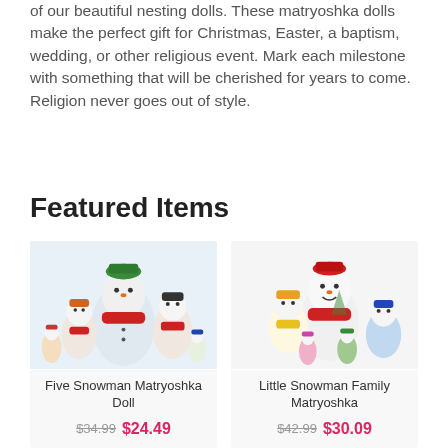of our beautiful nesting dolls. These matryoshka dolls make the perfect gift for Christmas, Easter, a baptism, wedding, or other religious event. Mark each milestone with something that will be cherished for years to come. Religion never goes out of style.
Featured Items
[Figure (photo): Five Snowman Matryoshka Doll — set of five painted wooden nesting dolls depicting snowmen with scarves and winter hats, blue decorative background]
Five Snowman Matryoshka Doll
$34.99  $24.49
[Figure (photo): Little Snowman Family Matryoshka — set of five painted wooden nesting dolls depicting a family of snowmen in colorful scarves and hats]
Little Snowman Family Matryoshka
$42.99  $30.09